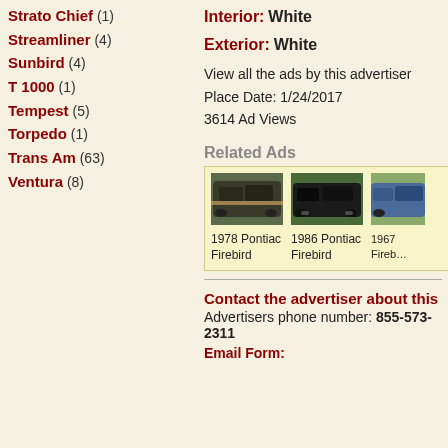Strato Chief (1)
Streamliner (4)
Sunbird (4)
T 1000 (1)
Tempest (5)
Torpedo (1)
Trans Am (63)
Ventura (8)
Interior: White
Exterior: White
View all the ads by this advertiser
Place Date: 1/24/2017
3614 Ad Views
Related Ads
[Figure (photo): 1978 Pontiac Firebird - black muscle car on gravel]
1978 Pontiac Firebird
[Figure (photo): 1986 Pontiac Firebird - black car on grass]
1986 Pontiac Firebird
[Figure (photo): 1967 Pontiac Firebird - partial view]
1967 Firebird
Contact the advertiser about this
Advertisers phone number: 855-573-2311
Email Form: